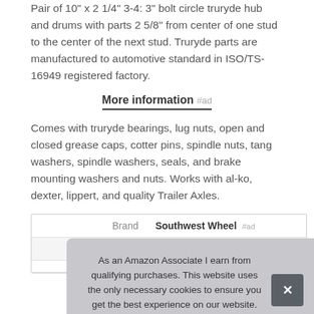Pair of 10" x 2 1/4" 3-4: 3" bolt circle truryde hub and drums with parts 2 5/8" from center of one stud to the center of the next stud. Truryde parts are manufactured to automotive standard in ISO/TS-16949 registered factory.
More information #ad
Comes with truryde bearings, lug nuts, open and closed grease caps, cotter pins, spindle nuts, tang washers, spindle washers, seals, and brake mounting washers and nuts. Works with al-ko, dexter, lippert, and quality Trailer Axles.
| Brand |
| --- |
| Southwest Wheel #ad |
| Ma... |
As an Amazon Associate I earn from qualifying purchases. This website uses the only necessary cookies to ensure you get the best experience on our website. More information